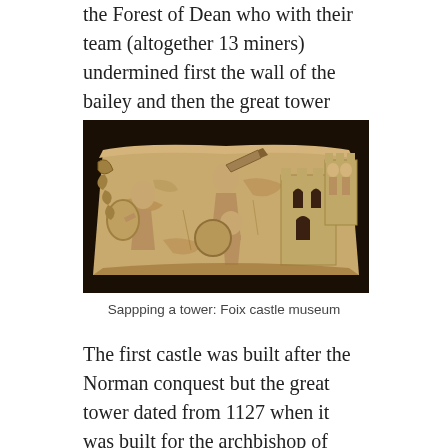the Forest of Dean who with their team (altogether 13 miners) undermined first the wall of the bailey and then the great tower itself.
[Figure (photo): Stone carved relief at Foix castle museum depicting soldiers sapping a tower, with figures wielding pick-axes and shields near a fortified tower structure.]
Sappping a tower: Foix castle museum
The first castle was built after the Norman conquest but the great tower dated from 1127 when it was built for the archbishop of Canterbury, then William